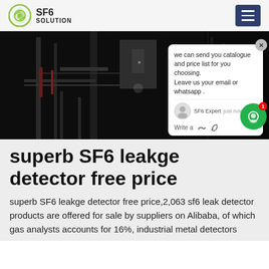SF6 SOLUTION
[Figure (photo): Dark industrial equipment photo showing electrical substation or SF6 gas handling machinery with pipes and cables in low-light environment. Overlaid with a chat popup widget showing a message from SF6 Expert.]
superb SF6 leakge detector free price
superb SF6 leakge detector free price,2,063 sf6 leak detector products are offered for sale by suppliers on Alibaba, of which gas analysts accounts for 16%, industrial metal detectors